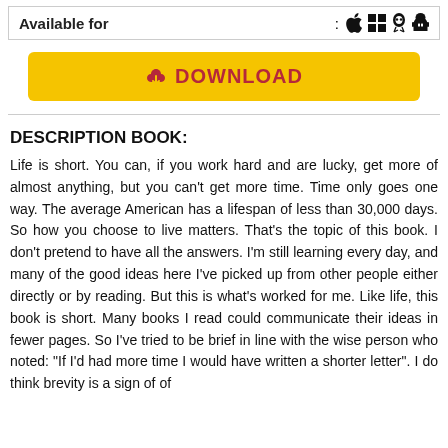Available for   :  [apple] [windows] [linux] [android]
[Figure (other): Yellow download button with cloud icon and text DOWNLOAD]
DESCRIPTION BOOK:
Life is short. You can, if you work hard and are lucky, get more of almost anything, but you can't get more time. Time only goes one way. The average American has a lifespan of less than 30,000 days. So how you choose to live matters. That's the topic of this book. I don't pretend to have all the answers. I'm still learning every day, and many of the good ideas here I've picked up from other people either directly or by reading. But this is what's worked for me. Like life, this book is short. Many books I read could communicate their ideas in fewer pages. So I've tried to be brief in line with the wise person who noted: "If I'd had more time I would have written a shorter letter". I do think brevity is a sign of of